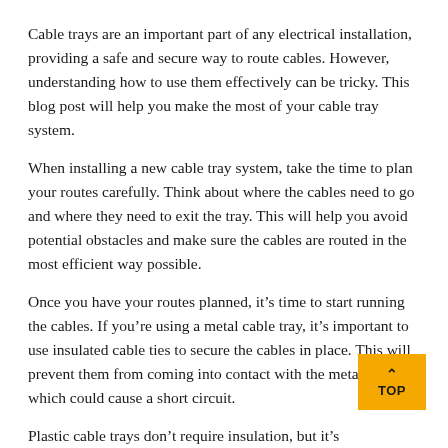Cable trays are an important part of any electrical installation, providing a safe and secure way to route cables. However, understanding how to use them effectively can be tricky. This blog post will help you make the most of your cable tray system.
When installing a new cable tray system, take the time to plan your routes carefully. Think about where the cables need to go and where they need to exit the tray. This will help you avoid potential obstacles and make sure the cables are routed in the most efficient way possible.
Once you have your routes planned, it's time to start running the cables. If you're using a metal cable tray, it's important to use insulated cable ties to secure the cables in place. This will prevent them from coming into contact with the metal surface, which could cause a short circuit.
Plastic cable trays don't require insulation, but it's a good idea to secure the cables in place with zip ties or